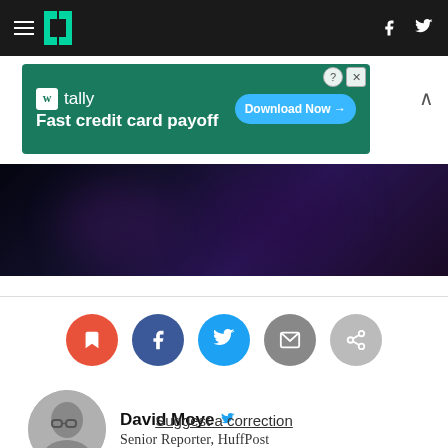HuffPost navigation header with hamburger menu, logo, Facebook and Twitter icons
[Figure (screenshot): Tally advertisement banner: Fast credit card payoff, Download Now button]
[Figure (photo): Dark purple/black concert or event photo strip]
[Figure (infographic): Row of 5 social sharing icon circles: bookmark (red), Facebook (dark blue), Twitter (light blue), email (gray), share (light gray)]
[Figure (photo): Circular black and white headshot photo of David Moye]
David Moye
Senior Reporter, HuffPost
Suggest a correction